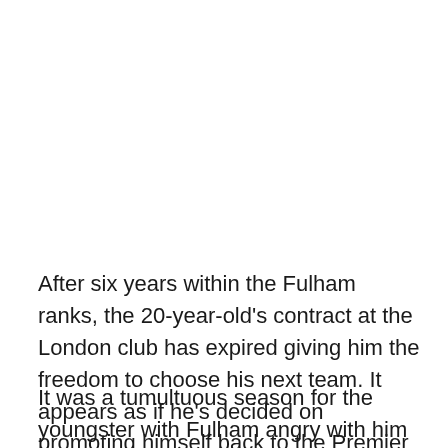After six years within the Fulham ranks, the 20-year-old's contract at the London club has expired giving him the freedom to choose his next team. It appears as if he's decided on promoting himself back to the Premier League.
It was a tumultuous season for the youngster with Fulham angry with him for not accepting a new contract with the club. They took it out on him by